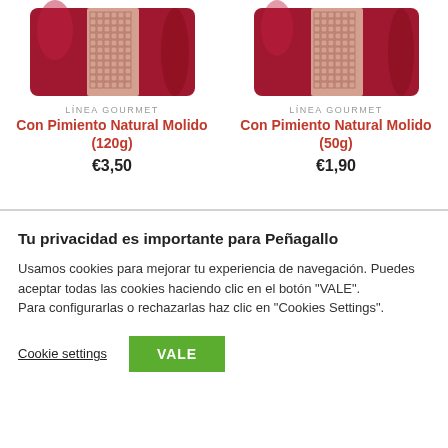[Figure (photo): Red product package with decorative pattern strip - Con Pimiento Natural Molido 120g]
LÍNEA GOURMET
Con Pimiento Natural Molido (120g)
€3,50
[Figure (photo): Red product package with decorative pattern strip - Con Pimiento Natural Molido 50g]
LÍNEA GOURMET
Con Pimiento Natural Molido (50g)
€1,90
Tu privacidad es importante para Peñagallo
Usamos cookies para mejorar tu experiencia de navegación. Puedes aceptar todas las cookies haciendo clic en el botón "VALE".
Para configurarlas o rechazarlas haz clic en "Cookies Settings".
Cookie settings
VALE